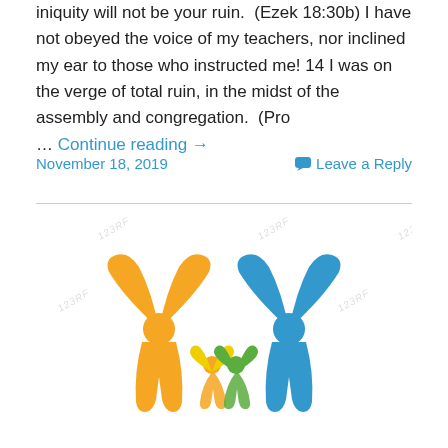iniquity will not be your ruin.  (Ezek 18:30b) I have not obeyed the voice of my teachers, nor inclined my ear to those who instructed me! 14 I was on the verge of total ruin, in the midst of the assembly and congregation.  (Pro … Continue reading →
November 18, 2019    Leave a Reply
[Figure (illustration): Colorful clipart-style illustration of people figures with arms raised in a celebratory manner: an orange figure on the left, a blue figure on the right, and smaller yellow/green figures in the middle. Stock image watermarks visible.]